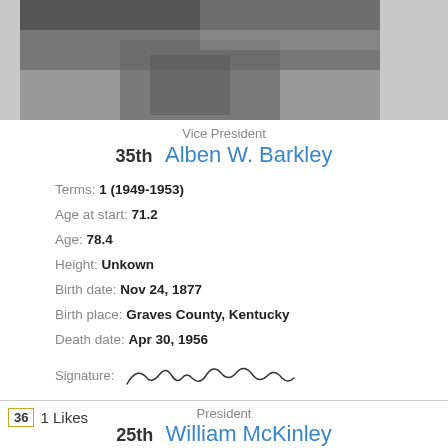[Figure (photo): Black and white photograph of Alben W. Barkley, cropped showing upper body in a suit]
Vice President
35th   Alben W. Barkley
Terms: 1 (1949-1953)
Age at start: 71.2
Age: 78.4
Height: Unkown
Birth date: Nov 24, 1877
Birth place: Graves County, Kentucky
Death date: Apr 30, 1956
Signature: [cursive signature]
36  1 Likes
President
25th   William McKinley
Terms: 1.13 (1897-1901)
Age at start: 54.1
Age: 58.6